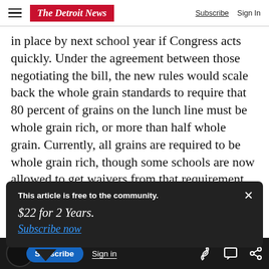The Detroit News | Subscribe | Sign In
in place by next school year if Congress acts quickly. Under the agreement between those negotiating the bill, the new rules would scale back the whole grain standards to require that 80 percent of grains on the lunch line must be whole grain rich, or more than half whole grain. Currently, all grains are required to be whole grain rich, though some schools are now allowed to get waivers from that requirement.
This article is free to the community.
$22 for 2 Years.
Subscribe now